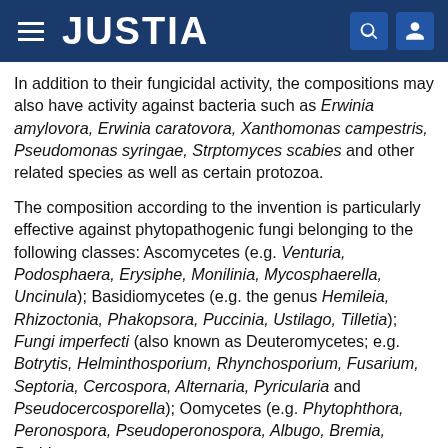JUSTIA
In addition to their fungicidal activity, the compositions may also have activity against bacteria such as Erwinia amylovora, Erwinia caratovora, Xanthomonas campestris, Pseudomonas syringae, Strptomyces scabies and other related species as well as certain protozoa.
The composition according to the invention is particularly effective against phytopathogenic fungi belonging to the following classes: Ascomycetes (e.g. Venturia, Podosphaera, Erysiphe, Monilinia, Mycosphaerella, Uncinula); Basidiomycetes (e.g. the genus Hemileia, Rhizoctonia, Phakopsora, Puccinia, Ustilago, Tilletia); Fungi imperfecti (also known as Deuteromycetes; e.g. Botrytis, Helminthosporium, Rhynchosporium, Fusarium, Septoria, Cercospora, Alternaria, Pyricularia and Pseudocercosporella); Oomycetes (e.g. Phytophthora, Peronospora, Pseudoperonospora, Albugo, Bremia, Pythium,